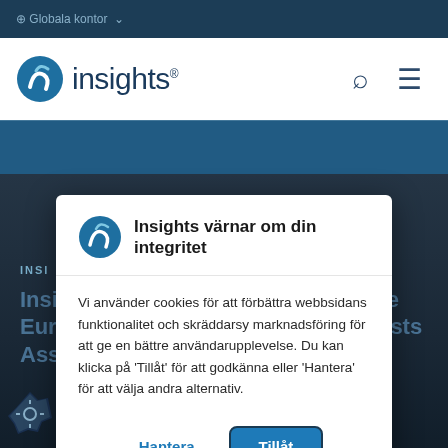⊕ Globala kontor ∨
[Figure (screenshot): Insights website navigation bar with logo, search icon, and hamburger menu]
Insights värnar om din integritet
Vi använder cookies för att förbättra webbsidans funktionalitet och skräddarsy marknadsföring för att ge en bättre användarupplevelse. Du kan klicka på 'Tillåt' för att godkänna eller 'Hantera' för att välja andra alternativ.
Hantera   Tillåt
INSI
Insights Discovery recertified by the European Federation of Psychologists Assoc